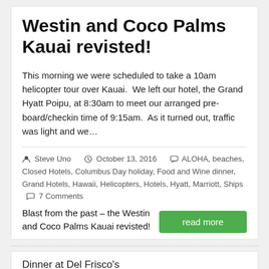Westin and Coco Palms Kauai revisted!
This morning we were scheduled to take a 10am helicopter tour over Kauai.  We left our hotel, the Grand Hyatt Poipu, at 8:30am to meet our arranged pre-board/checkin time of 9:15am.  As it turned out, traffic was light and we…
Steve Uno   October 13, 2016   ALOHA, beaches, Closed Hotels, Columbus Day holiday, Food and Wine dinner, Grand Hotels, Hawaii, Helicopters, Hotels, Hyatt, Marriott, Ships   7 Comments
Blast from the past – the Westin and Coco Palms Kauai revisted!
read more
Dinner at Del Frisco's
[Figure (photo): Partial photo visible at bottom of page under 'Dinner at Del Frisco's' heading]